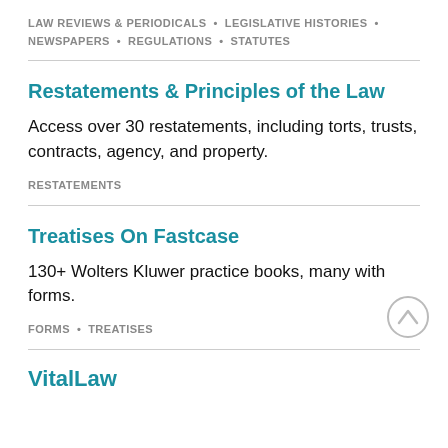LAW REVIEWS & PERIODICALS • LEGISLATIVE HISTORIES • NEWSPAPERS • REGULATIONS • STATUTES
Restatements & Principles of the Law
Access over 30 restatements, including torts, trusts, contracts, agency, and property.
RESTATEMENTS
Treatises On Fastcase
130+ Wolters Kluwer practice books, many with forms.
FORMS • TREATISES
VitalLaw